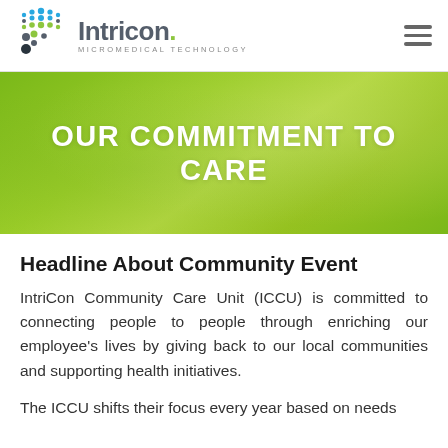Intricon MICROMEDICAL TECHNOLOGY
[Figure (illustration): Green-tinted hero banner with overlaid white bold text reading OUR COMMITMENT TO CARE, with a faint background photo of a person]
OUR COMMITMENT TO CARE
Headline About Community Event
IntriCon Community Care Unit (ICCU) is committed to connecting people to people through enriching our employee's lives by giving back to our local communities and supporting health initiatives.
The ICCU shifts their focus every year based on needs